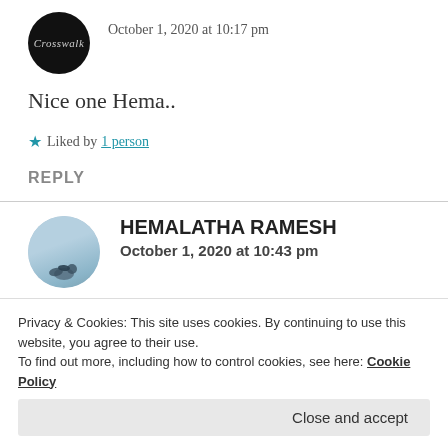[Figure (photo): Circular avatar with dark/black background and cursive text 'Crosswalk' in light gray]
October 1, 2020 at 10:17 pm
Nice one Hema..
★ Liked by 1 person
REPLY
[Figure (photo): Circular avatar showing a bird silhouette against a blue sky background]
HEMALATHA RAMESH
October 1, 2020 at 10:43 pm
Privacy & Cookies: This site uses cookies. By continuing to use this website, you agree to their use.
To find out more, including how to control cookies, see here: Cookie Policy
Close and accept